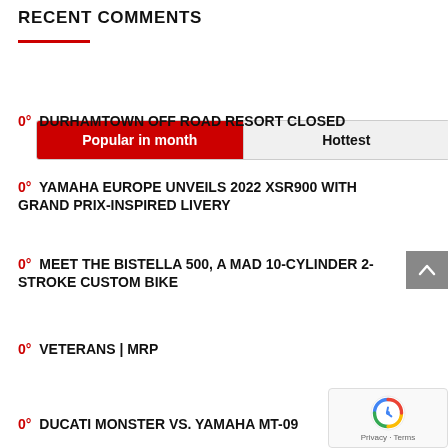RECENT COMMENTS
Popular in month | Hottest
0° DURHAMTOWN OFF ROAD RESORT CLOSED
0° YAMAHA EUROPE UNVEILS 2022 XSR900 WITH GRAND PRIX-INSPIRED LIVERY
0° MEET THE BISTELLA 500, A MAD 10-CYLINDER 2-STROKE CUSTOM BIKE
0° VETERANS | MRP
0° DUCATI MONSTER VS. YAMAHA MT-09